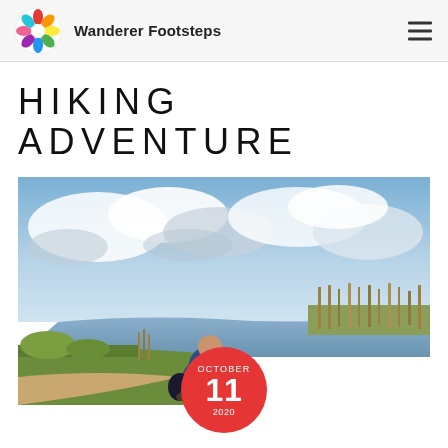Wanderer Footsteps
HIKING ADVENTURE
[Figure (photo): A person sitting on the ground beside a calm river or lake, wearing a blue jacket and red pants, viewed from behind. The landscape shows grassy banks, tall reeds, and a dramatic cloudy sky. A date badge overlay reads OCTOBER 11 2020 on a red circle.]